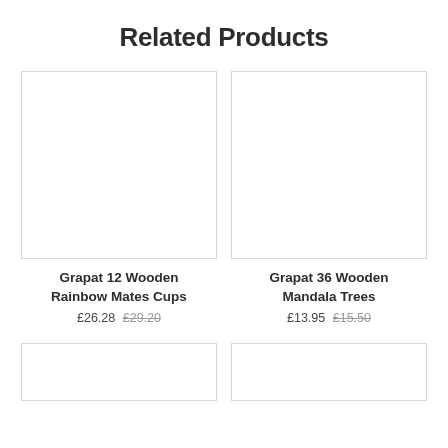Related Products
[Figure (photo): Empty white product image placeholder box for Grapat 12 Wooden Rainbow Mates Cups]
Grapat 12 Wooden Rainbow Mates Cups
£26.28  £29.20
[Figure (photo): Empty white product image placeholder box for Grapat 36 Wooden Mandala Trees]
Grapat 36 Wooden Mandala Trees
£13.95  £15.50
[Figure (photo): Empty white product image placeholder box (partially visible, bottom-left)]
[Figure (photo): Empty white product image placeholder box (partially visible, bottom-right)]